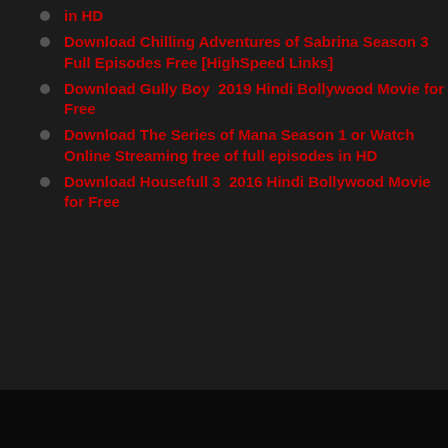in HD
Download Chilling Adventures of Sabrina Season 3 Full Episodes Free [HighSpeed Links]
Download Gully Boy  2019 Hindi Bollywood Movie for Free
Download The Series of Mana Season 1 or Watch Online Streaming free of full episodes in HD
Download Housefull 3  2016 Hindi Bollywood Movie for Free